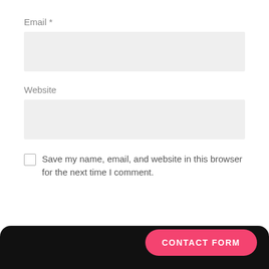Email *
Website
Save my name, email, and website in this browser for the next time I comment.
CONTACT FORM